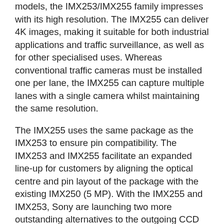models, the IMX253/IMX255 family impresses with its high resolution. The IMX255 can deliver 4K images, making it suitable for both industrial applications and traffic surveillance, as well as for other specialised uses. Whereas conventional traffic cameras must be installed one per lane, the IMX255 can capture multiple lanes with a single camera whilst maintaining the same resolution.
The IMX255 uses the same package as the IMX253 to ensure pin compatibility. The IMX253 and IMX255 facilitate an expanded line-up for customers by aligning the optical centre and pin layout of the package with the existing IMX250 (5 MP). With the IMX255 and IMX253, Sony are launching two more outstanding alternatives to the outgoing CCD sensors. The new sensors are a very good replacement for the discontinued CCD sensors ICX834 and ICX814/815. With a deep knowledge from sensor to system, the FRAMOS industry and product experts provide additional services like development support, reference design kits, engineering and logistics to support customers in using the new sensor series for their applications and